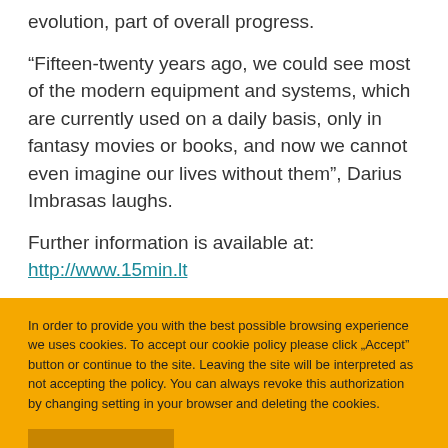evolution, part of overall progress.
“Fifteen-twenty years ago, we could see most of the modern equipment and systems, which are currently used on a daily basis, only in fantasy movies or books, and now we cannot even imagine our lives without them”, Darius Imbrasas laughs.
Further information is available at: http://www.15min.lt
In order to provide you with the best possible browsing experience we uses cookies. To accept our cookie policy please click „Accept” button or continue to the site. Leaving the site will be interpreted as not accepting the policy. You can always revoke this authorization by changing setting in your browser and deleting the cookies.
AGREE